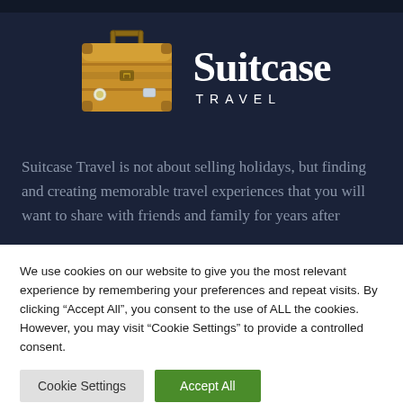[Figure (logo): Suitcase Travel logo with golden suitcase illustration and brand name]
Suitcase Travel is not about selling holidays, but finding and creating memorable travel experiences that you will want to share with friends and family for years after
We use cookies on our website to give you the most relevant experience by remembering your preferences and repeat visits. By clicking “Accept All”, you consent to the use of ALL the cookies. However, you may visit “Cookie Settings” to provide a controlled consent.